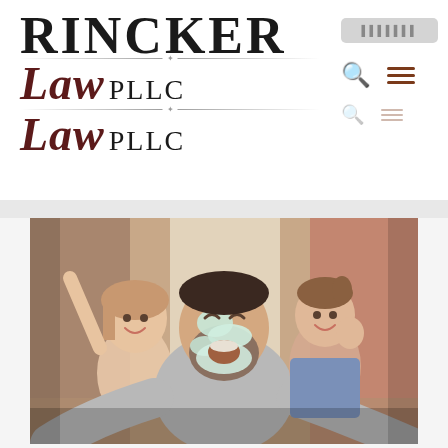[Figure (logo): Rincker Law PLLC logo — 'RINCKER' in large serif font, with 'Law' in dark red italic script followed by 'PLLC' in serif, repeated twice with a decorative divider line between, on white background]
[Figure (photo): A man with cream/foam on his face and beard laughing while taking a selfie with two young girls (daughters) who are also laughing and making playful gestures, in a home setting]